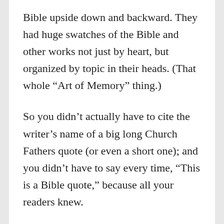Bible upside down and backward. They had huge swatches of the Bible and other works not just by heart, but organized by topic in their heads. (That whole “Art of Memory” thing.)
So you didn’t actually have to cite the writer’s name of a big long Church Fathers quote (or even a short one); and you didn’t have to say every time, “This is a Bible quote,” because all your readers knew.
When it got messy was when you had a wider variety of books available, from sources you didn’t know personally, or when your book got